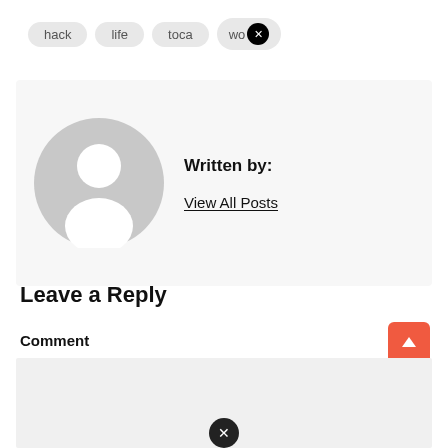hack  life  toca  wo...
[Figure (illustration): Generic user avatar circle in gray with silhouette of person]
Written by:
View All Posts
Leave a Reply
Comment